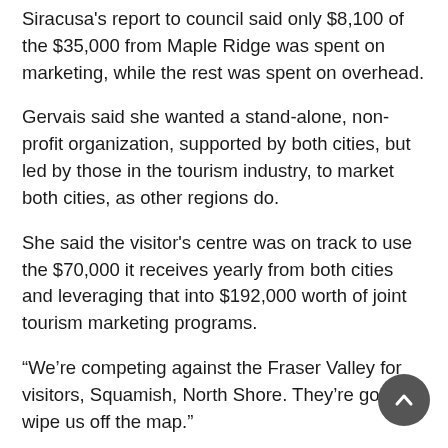Siracusa's report to council said only $8,100 of the $35,000 from Maple Ridge was spent on marketing, while the rest was spent on overhead.
Gervais said she wanted a stand-alone, non-profit organization, supported by both cities, but led by those in the tourism industry, to market both cities, as other regions do.
She said the visitor's centre was on track to use the $70,000 it receives yearly from both cities and leveraging that into $192,000 worth of joint tourism marketing programs.
“We’re competing against the Fraser Valley for visitors, Squamish, North Shore. They’re going to wipe us off the map.”